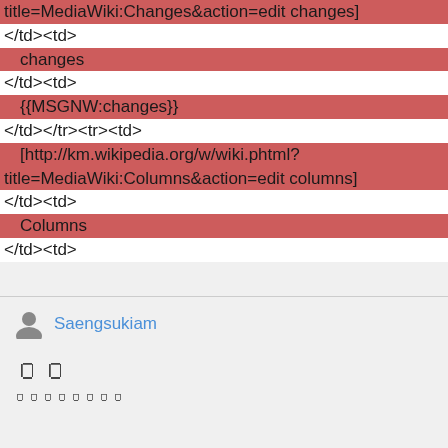title=MediaWiki:Changes&action=edit changes]
</td><td>
changes
</td><td>
{{MSGNW:changes}}
</td></tr><tr><td>
[http://km.wikipedia.org/w/wiki.phtml?title=MediaWiki:Columns&action=edit columns]
</td><td>
Columns
</td><td>
Saengsukiam
០០
០០០០០០០០